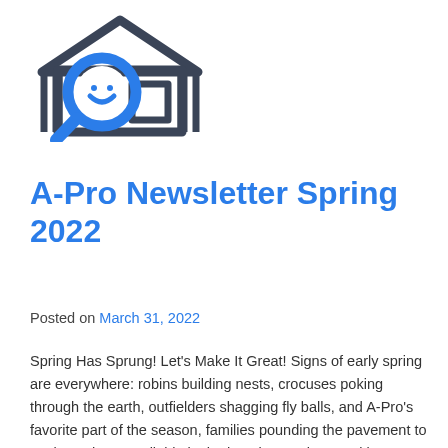[Figure (logo): A-Pro home inspection logo: dark grey house outline with a blue magnifying glass overlaid on the left side]
A-Pro Newsletter Spring 2022
Posted on March 31, 2022
Spring Has Sprung! Let's Make It Great! Signs of early spring are everywhere: robins building nests, crocuses poking through the earth, outfielders shagging fly balls, and A-Pro's favorite part of the season, families pounding the pavement to explore what's available in the housing market. Buckle up. It looks like we're in